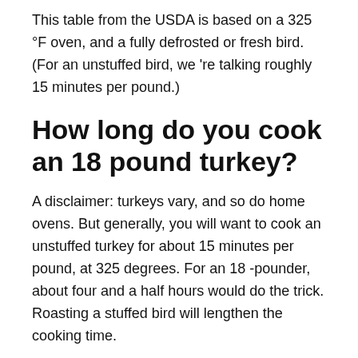This table from the USDA is based on a 325 °F oven, and a fully defrosted or fresh bird. (For an unstuffed bird, we 're talking roughly 15 minutes per pound.)
How long do you cook an 18 pound turkey?
A disclaimer: turkeys vary, and so do home ovens. But generally, you will want to cook an unstuffed turkey for about 15 minutes per pound, at 325 degrees. For an 18 -pounder, about four and a half hours would do the trick. Roasting a stuffed bird will lengthen the cooking time.
What can I use instead of an